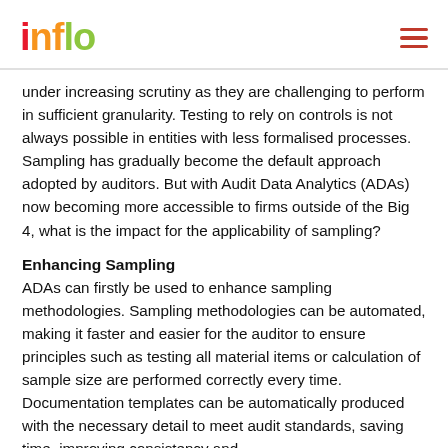inflo
under increasing scrutiny as they are challenging to perform in sufficient granularity. Testing to rely on controls is not always possible in entities with less formalised processes. Sampling has gradually become the default approach adopted by auditors. But with Audit Data Analytics (ADAs) now becoming more accessible to firms outside of the Big 4, what is the impact for the applicability of sampling?
Enhancing Sampling
ADAs can firstly be used to enhance sampling methodologies. Sampling methodologies can be automated, making it faster and easier for the auditor to ensure principles such as testing all material items or calculation of sample size are performed correctly every time. Documentation templates can be automatically produced with the necessary detail to meet audit standards, saving time, improving consistency and